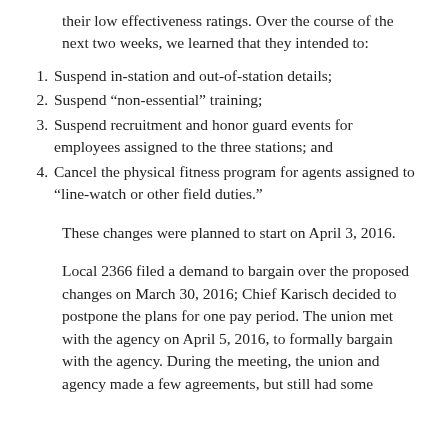their low effectiveness ratings. Over the course of the next two weeks, we learned that they intended to:
Suspend in-station and out-of-station details;
Suspend “non-essential” training;
Suspend recruitment and honor guard events for employees assigned to the three stations; and
Cancel the physical fitness program for agents assigned to “line-watch or other field duties.”
These changes were planned to start on April 3, 2016.
Local 2366 filed a demand to bargain over the proposed changes on March 30, 2016; Chief Karisch decided to postpone the plans for one pay period. The union met with the agency on April 5, 2016, to formally bargain with the agency. During the meeting, the union and agency made a few agreements, but still had some